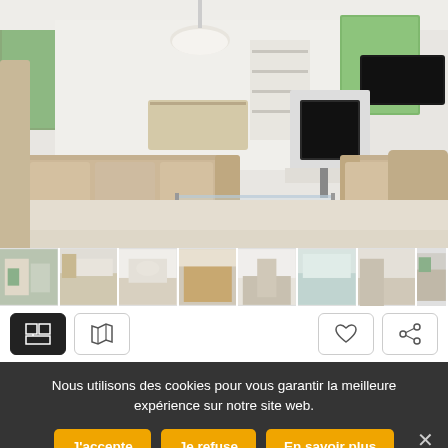[Figure (photo): Interior photo of a modern living room with beige sofas, glass coffee table, white walls, fireplace, shelves, and wall-mounted TV]
[Figure (photo): Row of thumbnail photos showing various rooms of a property]
[Figure (screenshot): Toolbar with icons: floor plan view (active, dark background), map view, heart/favourite, and share buttons]
Nous utilisons des cookies pour vous garantir la meilleure expérience sur notre site web.
J'accepte
Je refuse
En savoir plus